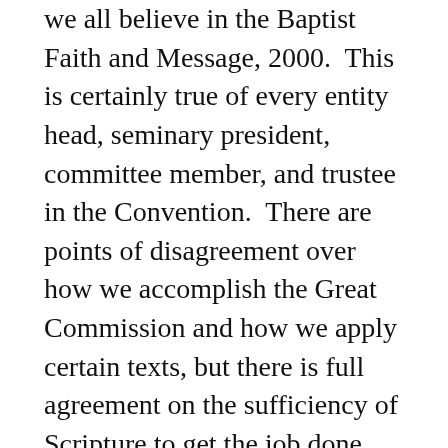we all believe in the Baptist Faith and Message, 2000.  This is certainly true of every entity head, seminary president, committee member, and trustee in the Convention.  There are points of disagreement over how we accomplish the Great Commission and how we apply certain texts, but there is full agreement on the sufficiency of Scripture to get the job done.
4. The Presidential election was the most anticipated part of the meeting.  There were 4 candidates.  Each one is conservative.  In fact, the whole convention is conservative.  This year there was a good bit of mudslinging prior to the meeting.  That is unfortunate.  In fact, I sat by a sweet group of folks who are part of a